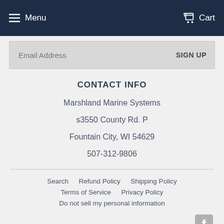Menu   Cart
Email Address   SIGN UP
CONTACT INFO
Marshland Marine Systems
s3550 County Rd. P
Fountain City, WI 54629
507-312-9806
Search   Refund Policy   Shipping Policy   Terms of Service   Privacy Policy   Do not sell my personal information
[Figure (logo): Facebook icon in grey]